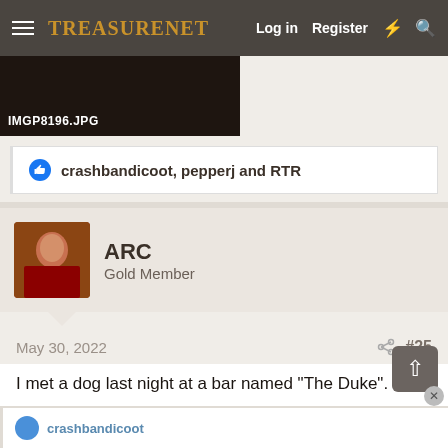TreasureNet  Log in  Register
[Figure (photo): Dark/blurry photo thumbnail with label IMGP8196.JPG]
crashbandicoot, pepperj and RTR
ARC
Gold Member
May 30, 2022  #25
I met a dog last night at a bar named "The Duke".